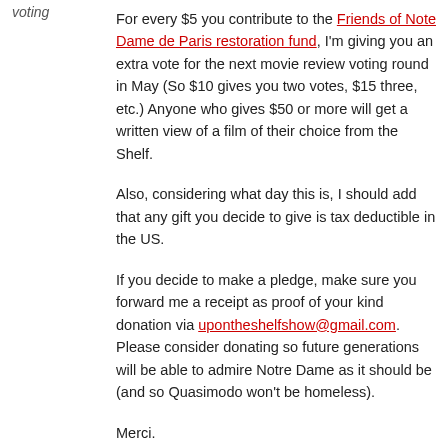voting
For every $5 you contribute to the Friends of Note Dame de Paris restoration fund, I'm giving you an extra vote for the next movie review voting round in May (So $10 gives you two votes, $15 three, etc.) Anyone who gives $50 or more will get a written view of a film of their choice from the Shelf.
Also, considering what day this is, I should add that any gift you decide to give is tax deductible in the US.
If you decide to make a pledge, make sure you forward me a receipt as proof of your kind donation via upontheshelfshow@gmail.com. Please consider donating so future generations will be able to admire Notre Dame as it should be (and so Quasimodo won't be homeless).
Merci.